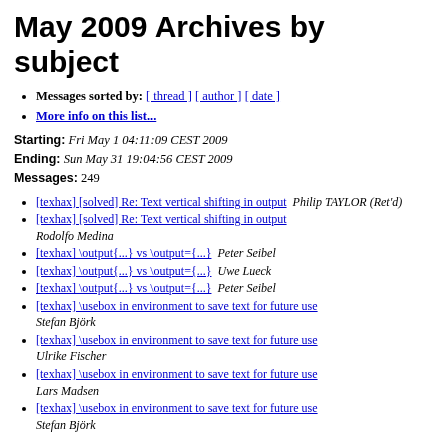May 2009 Archives by subject
Messages sorted by: [ thread ] [ author ] [ date ]
More info on this list...
Starting: Fri May 1 04:11:09 CEST 2009
Ending: Sun May 31 19:04:56 CEST 2009
Messages: 249
[texhax] [solved] Re: Text vertical shifting in output  Philip TAYLOR (Ret'd)
[texhax] [solved] Re: Text vertical shifting in output  Rodolfo Medina
[texhax] \output{...} vs \output={...}  Peter Seibel
[texhax] \output{...} vs \output={...}  Uwe Lueck
[texhax] \output{...} vs \output={...}  Peter Seibel
[texhax] \usebox in environment to save text for future use  Stefan Björk
[texhax] \usebox in environment to save text for future use  Ulrike Fischer
[texhax] \usebox in environment to save text for future use  Lars Madsen
[texhax] \usebox in environment to save text for future use  Stefan Björk